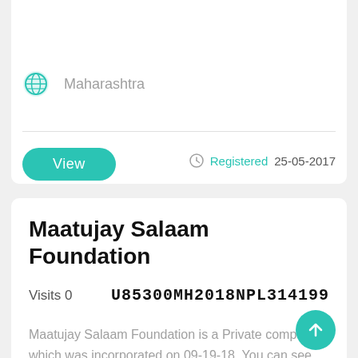Maharashtra
View
Registered 25-05-2017
Maatujay Salaam Foundation
Visits 0
U85300MH2018NPL314199
Maatujay Salaam Foundation is a Private company which was incorporated on 09-19-18. You can see here all details about Maatujay Salaam Foundation